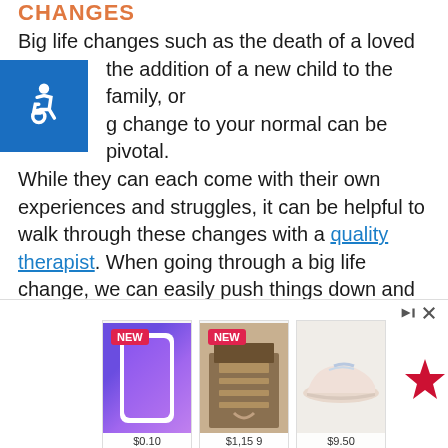CHANGES
Big life changes such as the death of a loved one, the addition of a new child to the family, or a big change to your normal can be pivotal. While they can each come with their own experiences and struggles, it can be helpful to walk through these changes with a quality therapist. When going through a big life change, we can easily push things down and ignore them. We can also find unhealthy coping mechanisms.
[Figure (other): Advertisement banner with three product images: iPhone 12 labeled NEW at $0.10, electronics/mining equipment labeled NEW at $1,159, pink sneaker/shoe at $9.50, with Macy's logo]